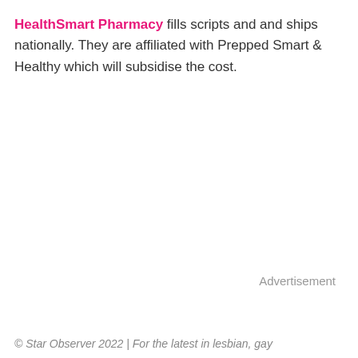HealthSmart Pharmacy fills scripts and and ships nationally. They are affiliated with Prepped Smart & Healthy which will subsidise the cost.
Advertisement
© Star Observer 2022 | For the latest in lesbian, gay